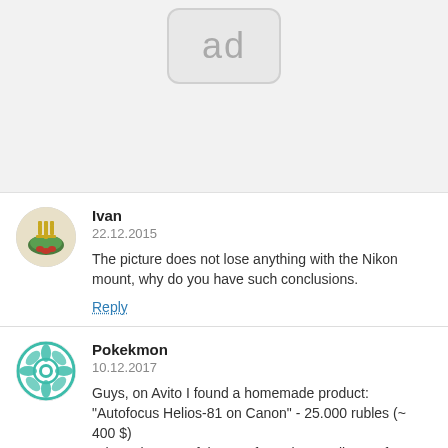[Figure (other): Ad placeholder box with 'ad' text in grey rounded rectangle]
Ivan
22.12.2015
The picture does not lose anything with the Nikon mount, why do you have such conclusions.
Reply
Pokekmon
10.12.2017
Guys, on Avito I found a homemade product:
"Autofocus Helios-81 on Canon" - 25.000 rubles (~ 400 $)
"The only copy of the autofocus lens Helios-81 for Canon cameras is on sale.
This is a full lens with a working aperture.